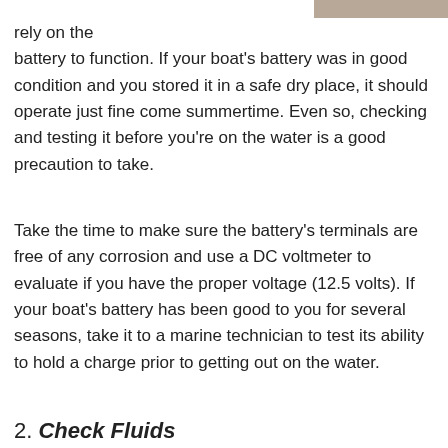[Figure (photo): Partial photo visible at top right of page]
rely on the battery to function. If your boat's battery was in good condition and you stored it in a safe dry place, it should operate just fine come summertime. Even so, checking and testing it before you're on the water is a good precaution to take.
Take the time to make sure the battery's terminals are free of any corrosion and use a DC voltmeter to evaluate if you have the proper voltage (12.5 volts). If your boat's battery has been good to you for several seasons, take it to a marine technician to test its ability to hold a charge prior to getting out on the water.
2. Check Fluids